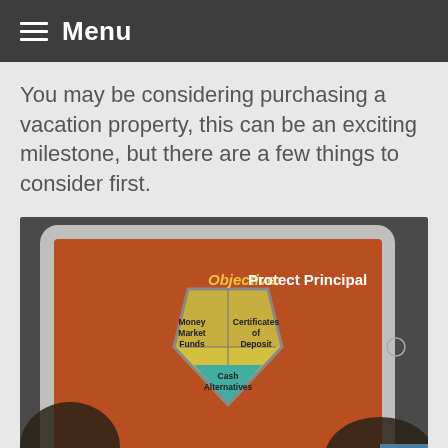Menu
You may be considering purchasing a vacation property, this can be an exciting milestone, but there are a few things to consider first.
[Figure (photo): A person holding a tablet showing a financial slideshow about 'Objective: Protect Principal' with a shield diagram containing Money Market Funds, Certificates of Deposit, and Cash Alternatives sections. A 'START SLIDESHOW' bar appears at the bottom.]